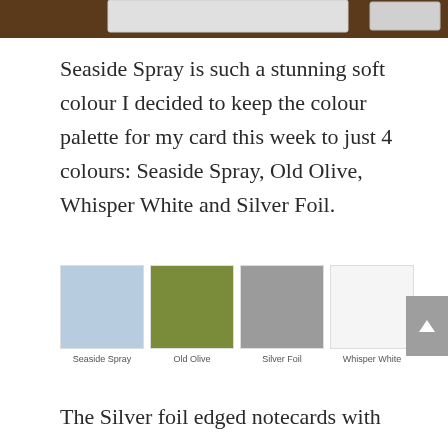[Figure (photo): Partial photo strip at top showing what appears to be cards or stationery on a wooden surface]
Seaside Spray is such a stunning soft colour I decided to keep the colour palette for my card this week to just 4 colours: Seaside Spray, Old Olive, Whisper White and Silver Foil.
[Figure (infographic): Four colour swatches labeled Seaside Spray (light blue), Old Olive (olive green), Silver Foil (medium grey), Whisper White (white/off-white)]
The Silver foil edged notecards with